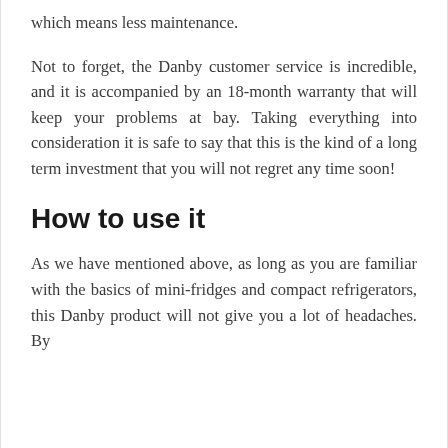which means less maintenance.
Not to forget, the Danby customer service is incredible, and it is accompanied by an 18-month warranty that will keep your problems at bay. Taking everything into consideration it is safe to say that this is the kind of a long term investment that you will not regret any time soon!
How to use it
As we have mentioned above, as long as you are familiar with the basics of mini-fridges and compact refrigerators, this Danby product will not give you a lot of headaches. By